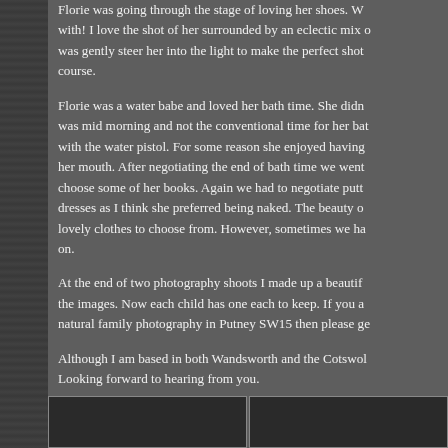Florie was going through the stage of loving her shoes. With! I love the shot of her surrounded by an eclectic mix of was gently steer her into the light to make the perfect shot course.
Florie was a water babe and loved her bath time. She didn was mid morning and not the conventional time for her bat with the water pistol. For some reason she enjoyed having her mouth. After negotiating the end of bath time we went choose some of her books. Again we had to negotiate putt dresses as I think she preferred being naked. The beauty o lovely clothes to choose from. However, sometimes we ha on.
At the end of two photography shoots I made up a beautif the images. Now each child has one each to keep. If you a natural family photography in Putney SW15 then please ge
Although I am based in both Wandsworth and the Cotswol Looking forward to hearing from you.
[Figure (photo): Two photographs side by side at the bottom of the page, partially visible. Both appear to be black and white or dark-toned photographs.]